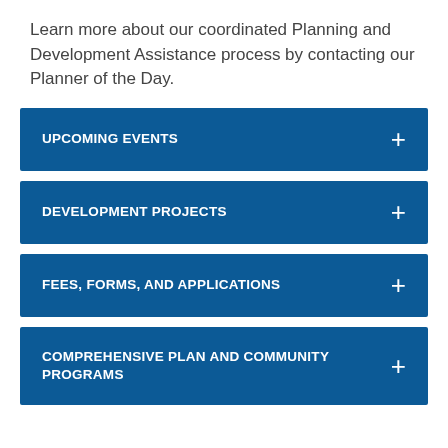Learn more about our coordinated Planning and Development Assistance process by contacting our Planner of the Day.
UPCOMING EVENTS
DEVELOPMENT PROJECTS
FEES, FORMS, AND APPLICATIONS
COMPREHENSIVE PLAN AND COMMUNITY PROGRAMS